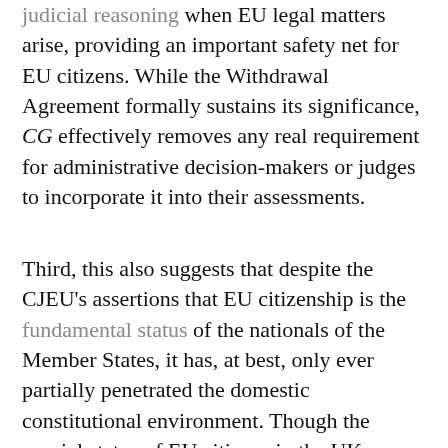judicial reasoning when EU legal matters arise, providing an important safety net for EU citizens. While the Withdrawal Agreement formally sustains its significance, CG effectively removes any real requirement for administrative decision-makers or judges to incorporate it into their assessments.
Third, this also suggests that despite the CJEU's assertions that EU citizenship is the fundamental status of the nationals of the Member States, it has, at best, only ever partially penetrated the domestic constitutional environment. Though the special status of EU citizens in the UK created political pressure to protect their residence entitlements immediately after the Brexit vote, it has done nothing to ensure that Union citizens are not discriminated against as